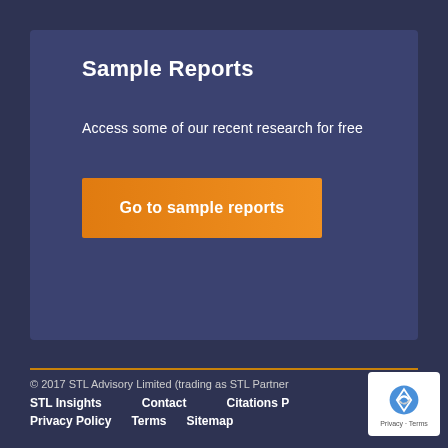Sample Reports
Access some of our recent research for free
Go to sample reports
© 2017 STL Advisory Limited (trading as STL Partner
STL Insights   Contact   Citations P   Privacy Policy   Terms   Sitemap